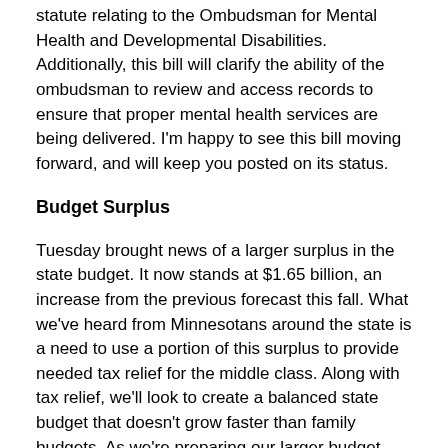statute relating to the Ombudsman for Mental Health and Developmental Disabilities. Additionally, this bill will clarify the ability of the ombudsman to review and access records to ensure that proper mental health services are being delivered. I'm happy to see this bill moving forward, and will keep you posted on its status.
Budget Surplus
Tuesday brought news of a larger surplus in the state budget. It now stands at $1.65 billion, an increase from the previous forecast this fall. What we've heard from Minnesotans around the state is a need to use a portion of this surplus to provide needed tax relief for the middle class. Along with tax relief, we'll look to create a balanced state budget that doesn't grow faster than family budgets. As we're preparing our larger budget bills, please reach out and share your opinion.
Student Opportunity
This week, my nephew took part in the House of Representatives High School Page Program. If you've never heard of this initiative, it's a weeklong experience for high school